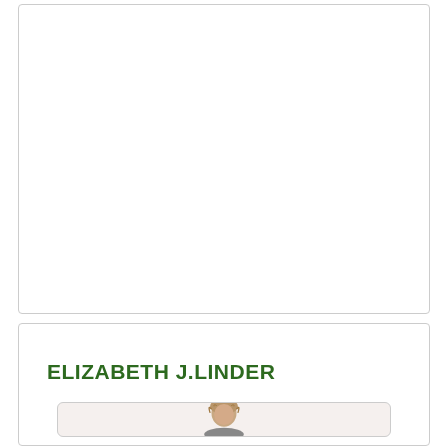[Figure (other): Empty white card/box with a light border, top portion of the page]
ELIZABETH J.LINDER
[Figure (photo): Portrait photo of a person with light brown hair, partially visible at bottom of page]